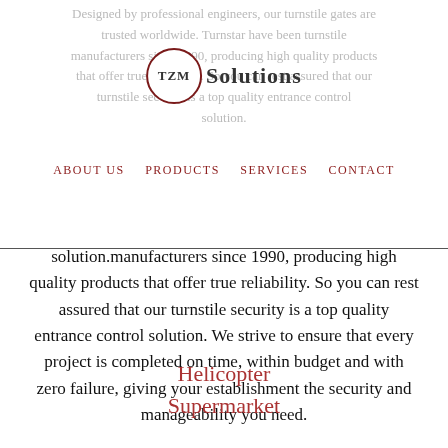Designed by professional engineers, our turnstile gates are trusted worldwide. Turnstar have been turnstile manufacturers since 1990, producing high quality products that offer true reliability. So you can rest assured that our turnstile security is a top quality entrance control
[Figure (logo): TZM Solutions logo: circle with TZM text inside and Solutions text to the right]
ABOUT US   PRODUCTS   SERVICES   CONTACT
solution.manufacturers since 1990, producing high quality products that offer true reliability. So you can rest assured that our turnstile security is a top quality entrance control solution. We strive to ensure that every project is completed on time, within budget and with zero failure, giving your establishment the security and manageability you need.
Helicopter Supermarket